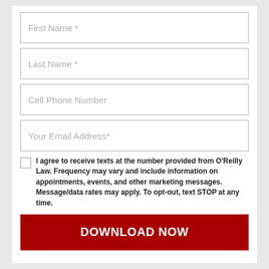First Name *
Last Name *
Cell Phone Number
Your Email Address*
I agree to receive texts at the number provided from O'Reilly Law. Frequency may vary and include information on appointments, events, and other marketing messages. Message/data rates may apply. To opt-out, text STOP at any time.
DOWNLOAD NOW